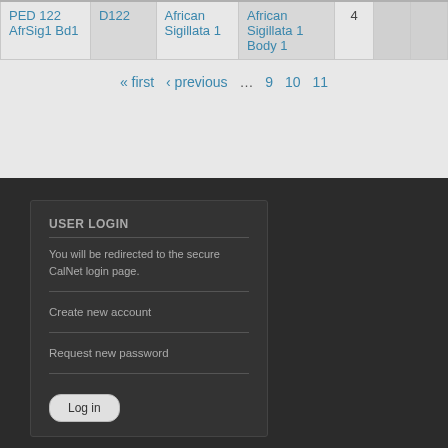| PED 122 AfrSig1 Bd1 | D122 | African Sigillata 1 | African Sigillata 1 Body 1 | 4 |  |  |
« first ‹ previous … 9 10 11
USER LOGIN
You will be redirected to the secure CalNet login page.
Create new account
Request new password
Log in